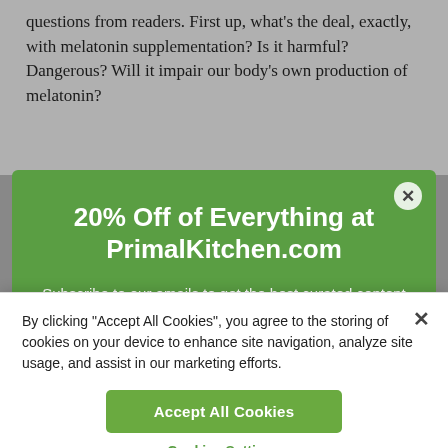questions from readers. First up, what's the deal, exactly, with melatonin supplementation? Is it harmful? Dangerous? Will it impair our body's own production of melatonin?
[Figure (screenshot): Green promotional modal popup for PrimalKitchen.com offering 20% off everything, with a subscription prompt and email input field, and a circular close (X) button in the top right corner.]
[Figure (screenshot): Cookie consent banner with close (x) button, text about accepting all cookies for site navigation and marketing, an 'Accept All Cookies' green button, and a 'Cookies Settings' link.]